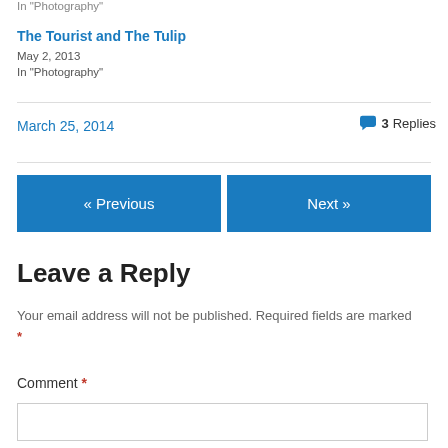In "Photography"
The Tourist and The Tulip
May 2, 2013
In "Photography"
March 25, 2014
3 Replies
« Previous
Next »
Leave a Reply
Your email address will not be published. Required fields are marked *
Comment *